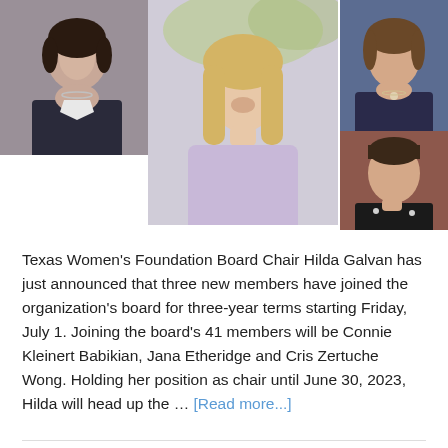[Figure (photo): Collage of four women's headshots arranged in an overlapping grid layout. Top-left: woman in dark blazer with necklace. Center: young blonde woman in lavender jacket. Top-right: woman in dark top with necklace. Bottom-right: woman with short hair and polka dot top.]
Texas Women's Foundation Board Chair Hilda Galvan has just announced that three new members have joined the organization's board for three-year terms starting Friday, July 1. Joining the board's 41 members will be Connie Kleinert Babikian, Jana Etheridge and Cris Zertuche Wong. Holding her position as chair until June 30, 2023, Hilda will head up the … [Read more...]